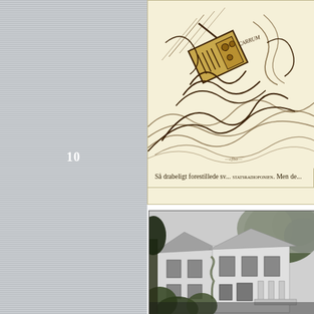10
[Figure (illustration): A vintage illustration showing a radio or broadcasting device caught in chaotic waves/motion, with dramatic swirling lines suggesting chaos or turbulence. The image has a yellowish-cream background typical of old print media.]
Så drabeligt forestillede sv... STATSRADIOFONIEN. Men de...
[Figure (photo): A black and white photograph showing an exterior view of a building with a sloped roof, surrounded by trees and vegetation.]